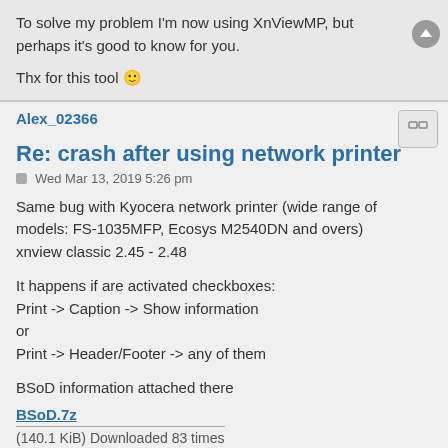To solve my problem I'm now using XnViewMP, but perhaps it's good to know for you.
Thx for this tool 😊
Alex_02366
Re: crash after using network printer
Wed Mar 13, 2019 5:26 pm
Same bug with Kyocera network printer (wide range of models: FS-1035MFP, Ecosys M2540DN and overs)
xnview classic 2.45 - 2.48
It happens if are activated checkboxes:
Print -> Caption -> Show information
or
Print -> Header/Footer -> any of them
BSoD information attached there
BSoD.7z
(140.1 KiB) Downloaded 83 times